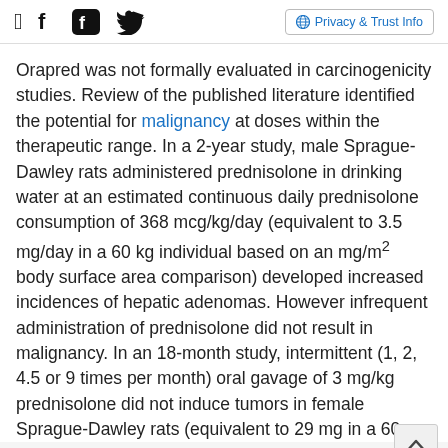[Facebook icon] [Twitter icon] | Privacy & Trust Info
Orapred was not formally evaluated in carcinogenicity studies. Review of the published literature identified the potential for malignancy at doses within the therapeutic range. In a 2-year study, male Sprague-Dawley rats administered prednisolone in drinking water at an estimated continuous daily prednisolone consumption of 368 mcg/kg/day (equivalent to 3.5 mg/day in a 60 kg individual based on an mg/m² body surface area comparison) developed increased incidences of hepatic adenomas. However infrequent administration of prednisolone did not result in malignancy. In an 18-month study, intermittent (1, 2, 4.5 or 9 times per month) oral gavage of 3 mg/kg prednisolone did not induce tumors in female Sprague-Dawley rats (equivalent to 29 mg in a 60
ADVERTISEMENT